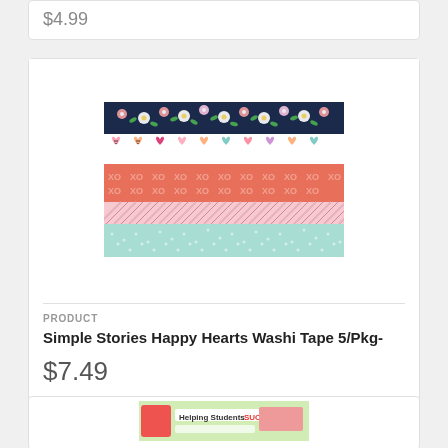$4.99
[Figure (photo): Simple Stories Happy Hearts Washi Tape product image showing 5 rolls of decorative washi tape with patterns: navy floral, cute hearts on white, coral XO pattern, diagonal stripes, and mint/teal dotted]
PRODUCT
Simple Stories Happy Hearts Washi Tape 5/Pkg-
$7.49
[Figure (photo): Partial image of another product at bottom of page showing a teal/yellow product with text 'Helping Students SUCCEED!']